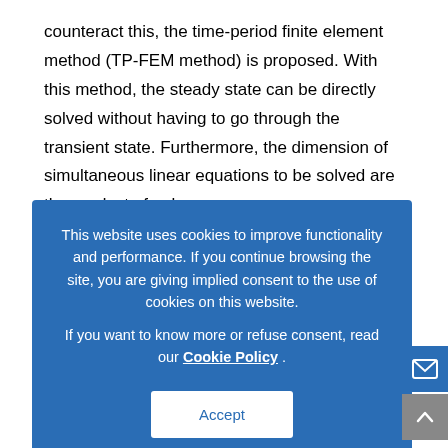counteract this, the time-period finite element method (TP-FEM method) is proposed. With this method, the steady state can be directly solved without having to go through the transient state. Furthermore, the dimension of simultaneous linear equations to be solved are the product of unknowns of one period or tion cost. To rrection method ent years. In that ction method s base, error e removed. tions on the effectiveness and performance of generic TP-EEC methods.
[Figure (screenshot): Cookie consent overlay with blue background. Text: 'This website uses cookies to improve functionality and performance. If you continue browsing the site, you are giving implied consent to the use of cookies on this website. If you want to know more or refuse consent, read our Cookie Policy . ' with an Accept button below.]